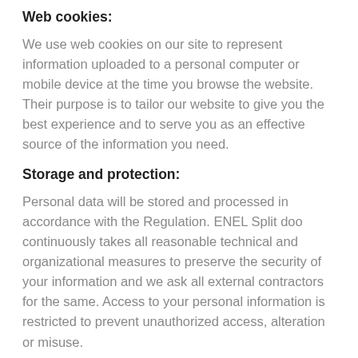Web cookies:
We use web cookies on our site to represent information uploaded to a personal computer or mobile device at the time you browse the website. Their purpose is to tailor our website to give you the best experience and to serve you as an effective source of the information you need.
Storage and protection:
Personal data will be stored and processed in accordance with the Regulation. ENEL Split doo continuously takes all reasonable technical and organizational measures to preserve the security of your information and we ask all external contractors for the same. Access to your personal information is restricted to prevent unauthorized access, alteration or misuse.